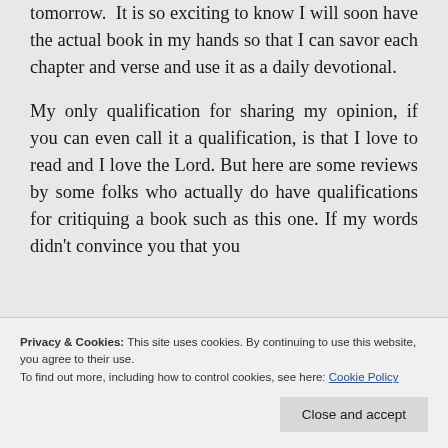tomorrow. It is so exciting to know I will soon have the actual book in my hands so that I can savor each chapter and verse and use it as a daily devotional.
My only qualification for sharing my opinion, if you can even call it a qualification, is that I love to read and I love the Lord. But here are some reviews by some folks who actually do have qualifications for critiquing a book such as this one. If my words didn't convince you that you
Privacy & Cookies: This site uses cookies. By continuing to use this website, you agree to their use.
To find out more, including how to control cookies, see here: Cookie Policy
Close and accept